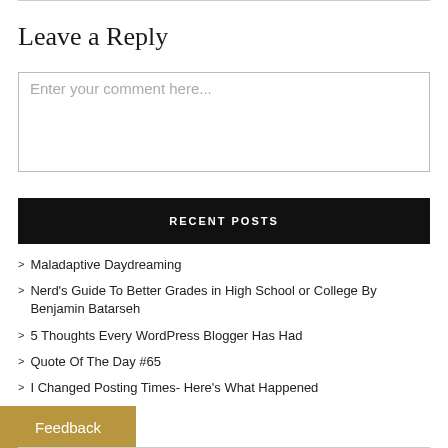Leave a Reply
Enter your comment here...
RECENT POSTS
Maladaptive Daydreaming
Nerd's Guide To Better Grades in High School or College By Benjamin Batarseh
5 Thoughts Every WordPress Blogger Has Had
Quote Of The Day #65
I Changed Posting Times- Here's What Happened
Feedback